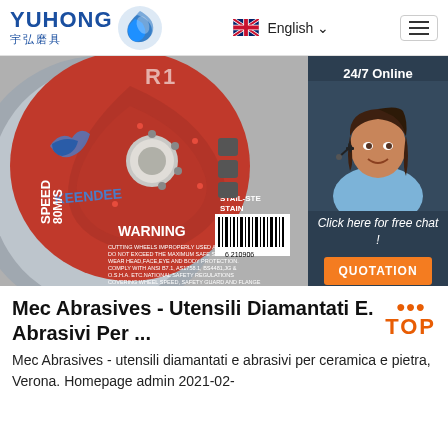YUHONG 宇弘磨具 | English | Menu
[Figure (photo): Red and grey grinding/cutting disc (Keendee brand, Speed 80M/S) with WARNING text and barcode, overlaid with a 24/7 Online chat widget showing a customer service representative and a QUOTATION button]
Mec Abrasives - Utensili Diamantati E. Abrasivi Per ...
Mec Abrasives - utensili diamantati e abrasivi per ceramica e pietra, Verona. Homepage admin 2021-02-